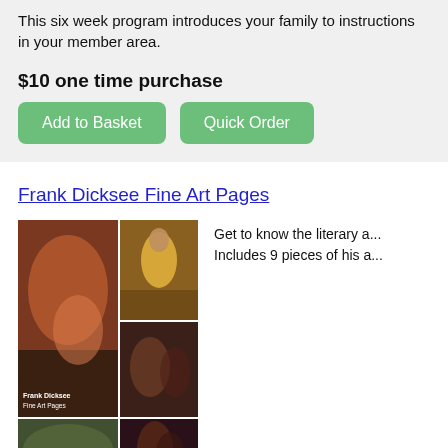This six week program introduces your family to instructions in your member area.
$10 one time purchase
Add to Basket
Quick Order
Frank Dicksee Fine Art Pages
[Figure (photo): Collage of Frank Dicksee fine art paintings including a knight on horseback, a woman in yellow dress, and romantic scenes. Text overlay reads 'Frank Dicksee Fine Art Pages'.]
Get to know the literary a... Includes 9 pieces of his a...